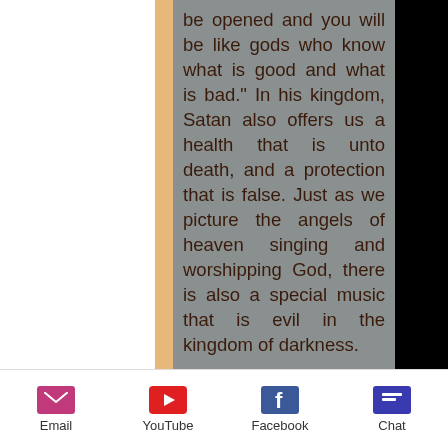be opened and you will be like gods who know what is good and what is bad." In his kingdom, Satan also offers us a health that is unto death, and a protection that is false. Just as we picture the angels of heaven singing and worshipping God, there is also a special music that is evil in the kingdom of darkness.
Satan's kingdom is a lie. He wants to be like God. But in the very first of the Ten Commandments, God told Moses: "I am the Lord your God. You shall not have strange
Email   YouTube   Facebook   Chat